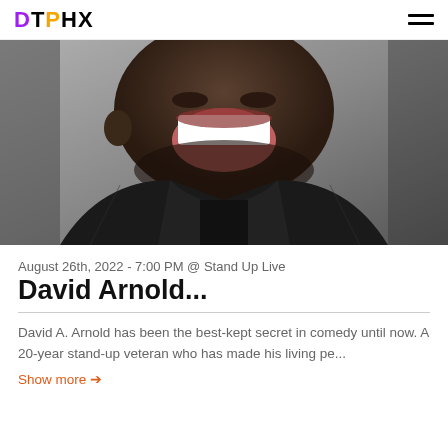DTPHX
[Figure (photo): Black and white close-up photo of a laughing man with a beard wearing a dark leather jacket, cropped from forehead to mid-chest against a gray background.]
August 26th, 2022 - 7:00 PM @ Stand Up Live
David Arnold...
David A. Arnold has been the best-kept secret in comedy until now. A 20-year stand-up veteran who has made his living pe...
Show more →